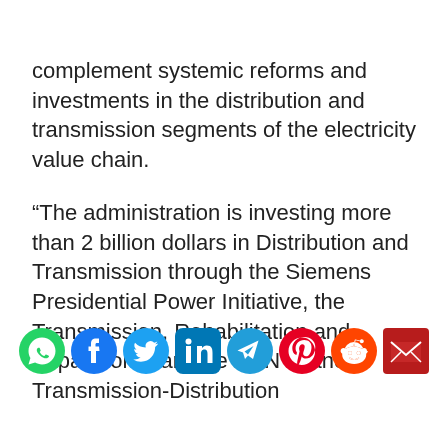complement systemic reforms and investments in the distribution and transmission segments of the electricity value chain.
“The administration is investing more than 2 billion dollars in Distribution and Transmission through the Siemens Presidential Power Initiative, the Transmission, Rehabilitation and Expansion Plan, the CBN financed Transmission-Distribution
[Figure (infographic): Social media sharing icons: WhatsApp (green), Facebook (blue), Twitter (light blue), LinkedIn (blue), Telegram (blue), Pinterest (red), Reddit (orange-red), Email (dark red)]